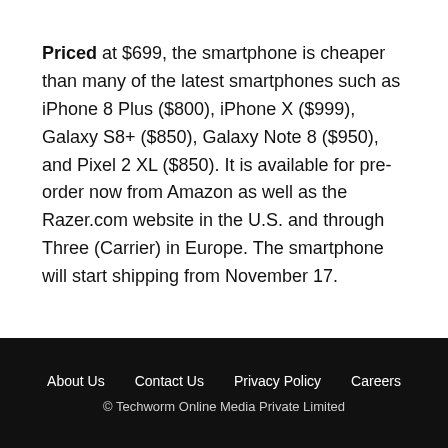Priced at $699, the smartphone is cheaper than many of the latest smartphones such as iPhone 8 Plus ($800), iPhone X ($999), Galaxy S8+ ($850), Galaxy Note 8 ($950), and Pixel 2 XL ($850). It is available for pre-order now from Amazon as well as the Razer.com website in the U.S. and through Three (Carrier) in Europe. The smartphone will start shipping from November 17.
About Us   Contact Us   Privacy Policy   Careers
© Techworm Online Media Private Limited